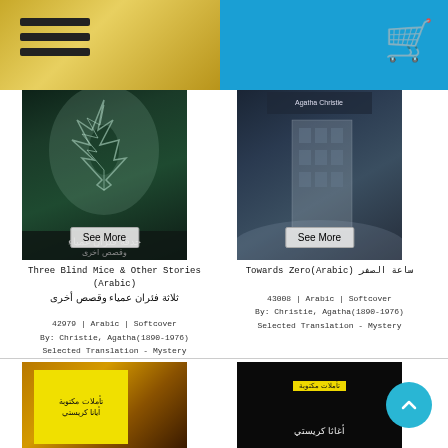[Figure (screenshot): Website header with blue background, gold/hamburger menu on left, shopping cart icon on right]
[Figure (photo): Book cover for Three Blind Mice & Other Stories (Arabic) - dark green with tree image]
Three Blind Mice & Other Stories (Arabic)
ثلاثة فئران عمياء وقصص أخرى
42979 | Arabic | Softcover
By: Christie, Agatha (1890-1976)
Selected Translation - Mystery
US$10.95
[Figure (photo): Book cover for Towards Zero (Arabic) - dark building/architecture image]
Towards Zero (Arabic) ساعة الصفر
43008 | Arabic | Softcover
By: Christie, Agatha (1890-1976)
Selected Translation - Mystery
US$10.95
[Figure (photo): Bottom left book cover - yellow and brown tones with Arabic text]
[Figure (photo): Bottom right book cover - black background with yellow label and Arabic text]